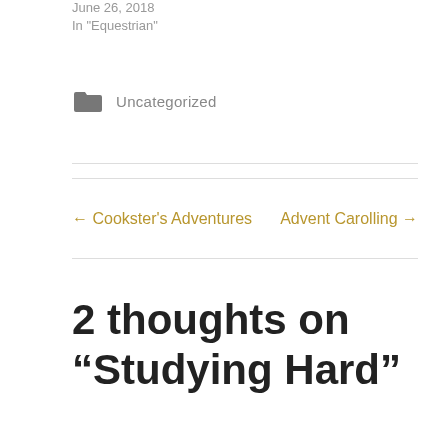June 26, 2018
In "Equestrian"
Uncategorized
← Cookster's Adventures
Advent Carolling →
2 thoughts on “Studying Hard”